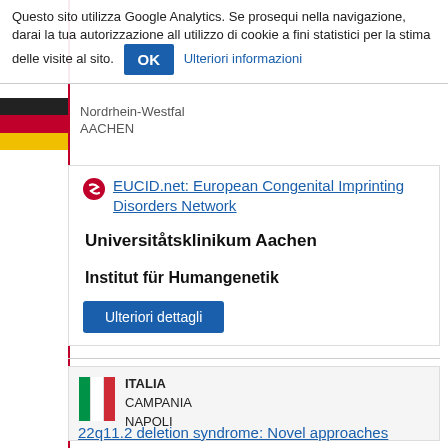Questo sito utilizza Google Analytics. Se prosequi nella navigazione, darai la tua autorizzazione all utilizzo di cookie a fini statistici per la stima delle visite al sito. OK Ulteriori informazioni
Nordrhein-Westfalen
AACHEN
EUCID.net: European Congenital Imprinting Disorders Network
Universitåtsklinikum Aachen
Institut für Humangenetik
Ulteriori dettagli
ITALIA
CAMPANIA
NAPOLI
22q11.2 deletion syndrome: Novel approaches